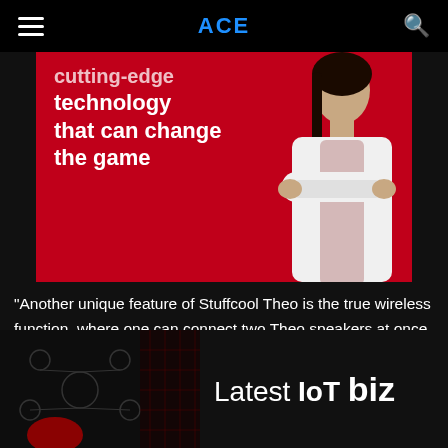ACE
[Figure (photo): Advertisement or article hero image on a red background showing a woman in a white blazer with arms crossed, and bold white text reading 'cutting-edge technology that can change the game']
“Another unique feature of Stuffcool Theo is the true wireless function, where one can connect two Theo speakers at once to amp up the party and create great memories. One can double the sound for double the [fun at] your party [and it is] ergonomically design emphasized by smooth
[Figure (other): Bottom ad overlay showing network/IoT node graphic on dark background with text 'Latest IoT biz']